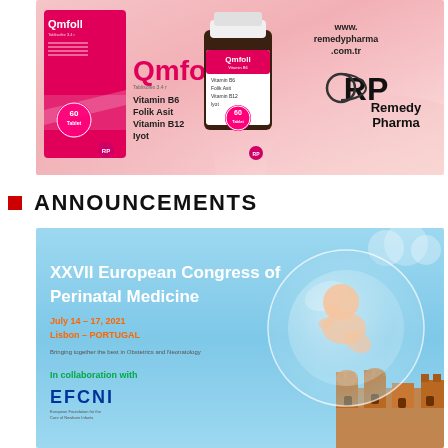[Figure (photo): Qmfoll product advertisement showing pink product box and bottle with Remedy Pharma branding. Product contains Vitamin B6, Folik Asit, Vitamin B12, Iyot. 60 tablets.]
ANNOUNCEMENTS
[Figure (illustration): XXVII European Congress of Perinatal Medicine conference announcement banner. July 14-17, 2021, Lisbon - PORTUGAL. Bringing together the best in Obstetrics and Neonatology. In collaboration with EFCNI. Light blue background with baby in bubble sphere and Lisbon castle imagery.]